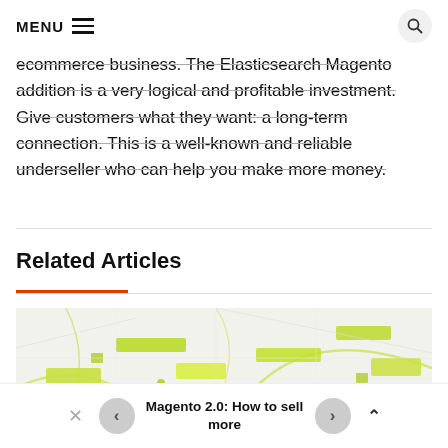MENU
ecommerce business. The Elasticsearch Magento addition is a very logical and profitable investment. Give customers what they want: a long-term connection. This is a well-known and reliable underseller who can help you make more money.
Related Articles
[Figure (photo): Aerial or top-down view of a map with yellow-green highlighted areas and roads on white background]
Magento 2.0: How to sell more